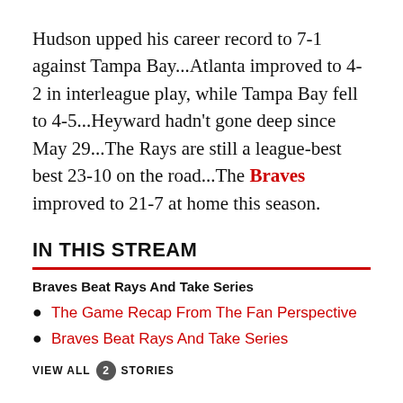Hudson upped his career record to 7-1 against Tampa Bay...Atlanta improved to 4-2 in interleague play, while Tampa Bay fell to 4-5...Heyward hadn't gone deep since May 29...The Rays are still a league-best best 23-10 on the road...The Braves improved to 21-7 at home this season.
IN THIS STREAM
Braves Beat Rays And Take Series
The Game Recap From The Fan Perspective
Braves Beat Rays And Take Series
VIEW ALL 2 STORIES